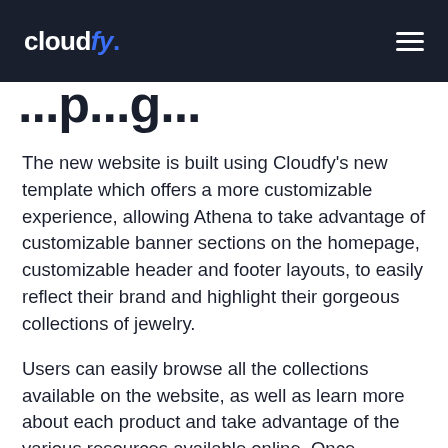cloudfy.
...p...g...
The new website is built using Cloudfy's new template which offers a more customizable experience, allowing Athena to take advantage of customizable banner sections on the homepage, customizable header and footer layouts, to easily reflect their brand and highlight their gorgeous collections of jewelry.
Users can easily browse all the collections available on the website, as well as learn more about each product and take advantage of the various resources available online. Once